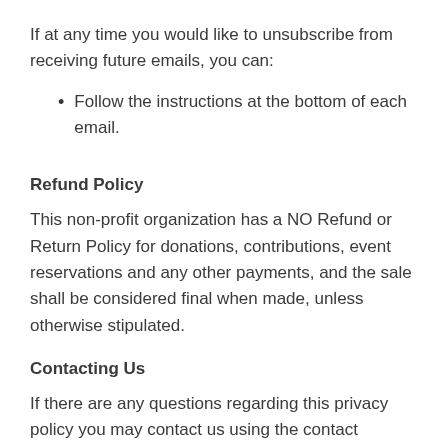If at any time you would like to unsubscribe from receiving future emails, you can:
Follow the instructions at the bottom of each email.
Refund Policy
This non-profit organization has a NO Refund or Return Policy for donations, contributions, event reservations and any other payments, and the sale shall be considered final when made, unless otherwise stipulated.
Contacting Us
If there are any questions regarding this privacy policy you may contact us using the contact information on our website.